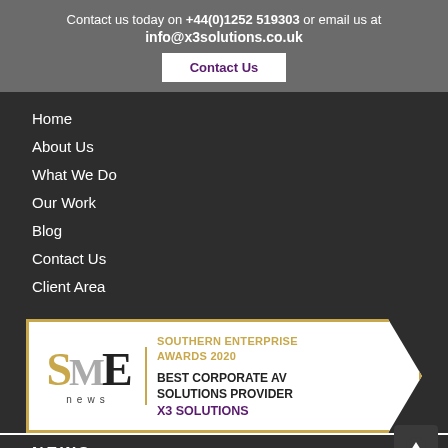Contact us today on +44(0)1252 519303 or email us at info@x3solutions.co.uk
Contact Us
Home
About Us
What We Do
Our Work
Blog
Contact Us
Client Area
[Figure (logo): SME News award badge: Southern Enterprise Awards 2020, Best Corporate AV Solutions Provider, X3 Solutions]
NEWS